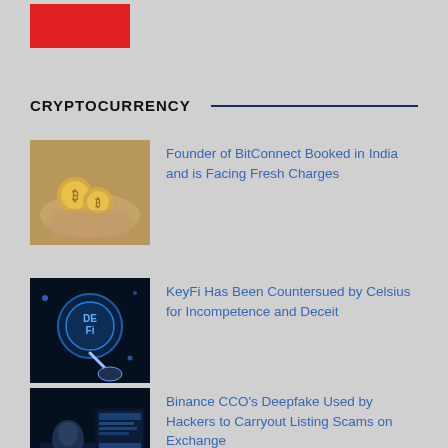[Figure (logo): Red rectangular logo block]
CRYPTOCURRENCY
[Figure (photo): Hands holding gold Bitcoin coins]
Founder of BitConnect Booked in India and is Facing Fresh Charges
[Figure (photo): Finger touching a glowing DeFi button in dark blue environment]
KeyFi Has Been Countersued by Celsius for Incompetence and Deceit
[Figure (photo): Person at computer with dark blue hacker-themed background]
Binance CCO’s Deepfake Used by Hackers to Carryout Listing Scams on Exchange